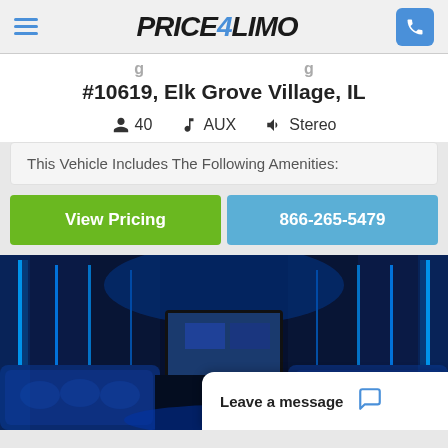Price4Limo
#10619, Elk Grove Village, IL
40  AUX  Stereo
This Vehicle Includes The Following Amenities:
View Pricing
866-265-5479
[Figure (photo): Interior of a party bus/limo bus with blue LED lighting, tufted blue leather seating, and a TV screen at the far end]
Leave a message